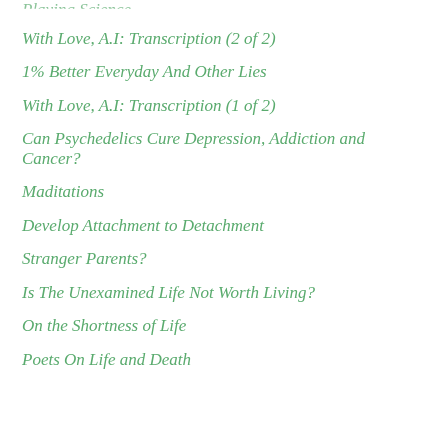Playing Science.
With Love, A.I: Transcription (2 of 2)
1% Better Everyday And Other Lies
With Love, A.I: Transcription (1 of 2)
Can Psychedelics Cure Depression, Addiction and Cancer?
Maditations
Develop Attachment to Detachment
Stranger Parents?
Is The Unexamined Life Not Worth Living?
On the Shortness of Life
Poets On Life and Death